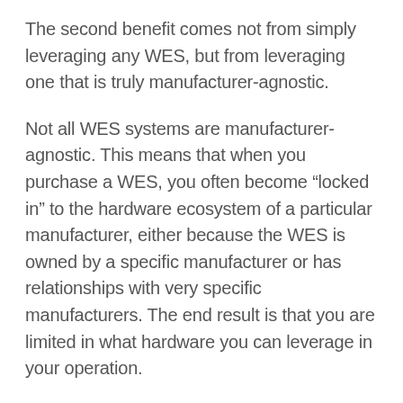The second benefit comes not from simply leveraging any WES, but from leveraging one that is truly manufacturer-agnostic.
Not all WES systems are manufacturer-agnostic. This means that when you purchase a WES, you often become “locked in” to the hardware ecosystem of a particular manufacturer, either because the WES is owned by a specific manufacturer or has relationships with very specific manufacturers. The end result is that you are limited in what hardware you can leverage in your operation.
A manufacturer-agnostic WES, by comparison, is explicitly designed to play well with others so that you have full freedom to choose whatever hardware you wish to leverage in your operation, regardless of the manufacturer.